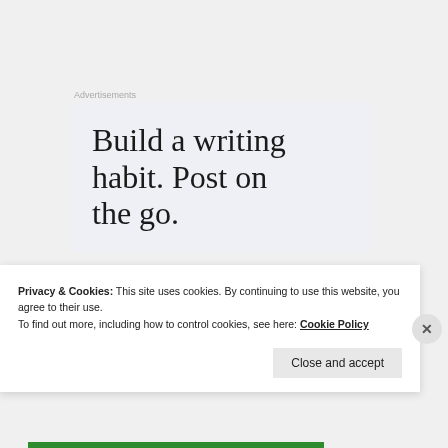Advertisements
[Figure (other): Advertisement banner with text 'Build a writing habit. Post on the go.' on a light blue-gray background]
RA ANASTHESYA
Privacy & Cookies: This site uses cookies. By continuing to use this website, you agree to their use.
To find out more, including how to control cookies, see here: Cookie Policy
Close and accept